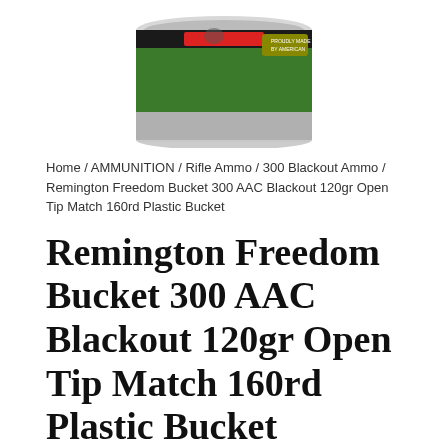[Figure (photo): Remington Freedom Bucket product photo — a cylindrical plastic ammunition bucket with green and black label, viewed from slightly above, cropped at top of page]
Home / AMMUNITION / Rifle Ammo / 300 Blackout Ammo / Remington Freedom Bucket 300 AAC Blackout 120gr Open Tip Match 160rd Plastic Bucket
Remington Freedom Bucket 300 AAC Blackout 120gr Open Tip Match 160rd Plastic Bucket
$200.59
SKU:
047700475806
BRAND: